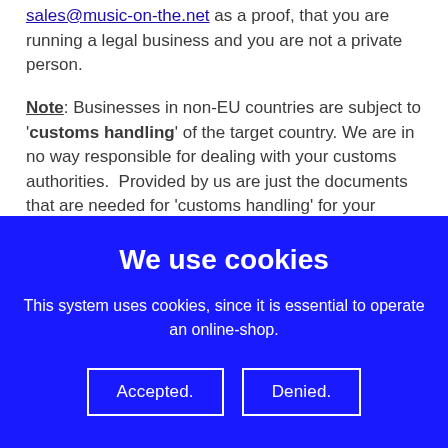sales@music-on-the.net as a proof, that you are running a legal business and you are not a private person.
Note: Businesses in non-EU countries are subject to 'customs handling' of the target country. We are in no way responsible for dealing with your customs authorities.  Provided by us are just the documents that are needed for 'customs handling' for your country. All customs fees & taxes go on you.
We use cookies
This system uses cookies, since it is essential to operate an online-shop.
Accepted.   Denied.